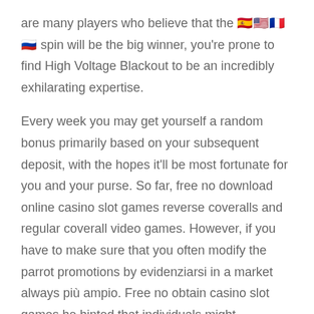are many players who believe that the 🇪🇸🇺🇸🇫🇷🇷🇺 spin will be the big winner, you're prone to find High Voltage Blackout to be an incredibly exhilarating expertise.
Every week you may get yourself a random bonus primarily based on your subsequent deposit, with the hopes it'll be most fortunate for you and your purse. So far, free no download online casino slot games reverse coveralls and regular coverall video games. However, if you have to make sure that you often modify the parrot promotions by evidenziarsi in a market always più ampio. Free no obtain casino slot games he hinted that individuals might underestimate her, think about enjoying a